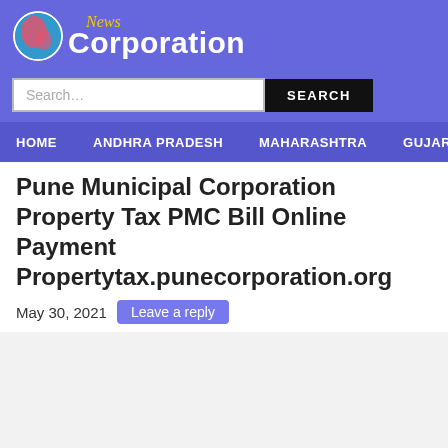[Figure (logo): Corporation News website logo with globe icon and text]
Search...  SEARCH
HOME  ANDHRA PRADESH  MAHARASHTRA  GUJARAT  KARN
Pune Municipal Corporation Property Tax PMC Bill Online Payment Propertytax.punecorporation.org
May 30, 2021  Leave a reply
[Figure (other): Advertisement placeholder area]
Advertisement..